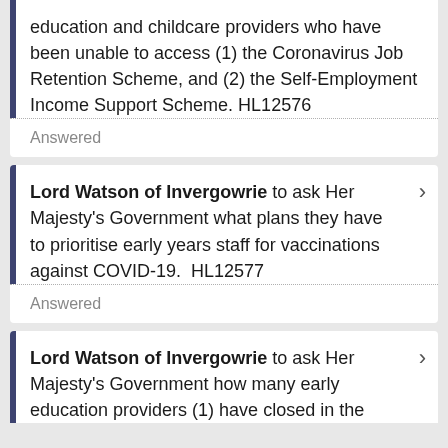education and childcare providers who have been unable to access (1) the Coronavirus Job Retention Scheme, and (2) the Self-Employment Income Support Scheme. HL12576
Answered
Lord Watson of Invergowrie to ask Her Majesty's Government what plans they have to prioritise early years staff for vaccinations against COVID-19.  HL12577
Answered
Lord Watson of Invergowrie to ask Her Majesty's Government how many early education providers (1) have closed in the